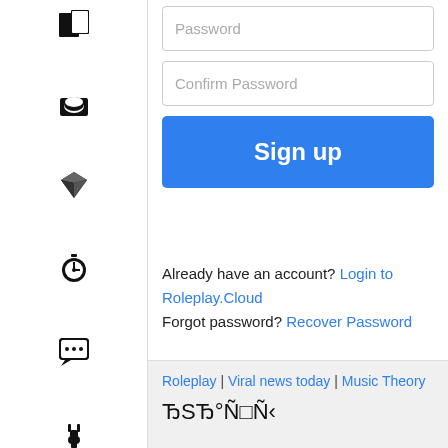[Figure (other): Sidebar with icons: expand, inbox, gem/diamond, timer/stopwatch, chat bubble with ellipsis, plug/power]
Password
Confirm Password
Sign up
Already have an account? Login to Roleplay.Cloud
Forgot password? Recover Password
Roleplay | Viral news today | Music Theory
ЂSЂ°Ñ□Ñ‹